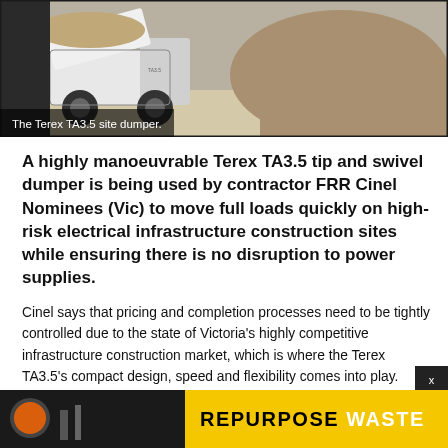[Figure (photo): Terex TA3.5 site dumper vehicle on a construction site, showing the machine near a pile of dirt/aggregate material.]
The Terex TA3.5 site dumper.
A highly manoeuvrable Terex TA3.5 tip and swivel dumper is being used by contractor FRR Cinel Nominees (Vic) to move full loads quickly on high-risk electrical infrastructure construction sites while ensuring there is no disruption to power supplies.
Cinel says that pricing and completion processes need to be tightly controlled due to the state of Victoria's highly competitive infrastructure construction market, which is where the Terex TA3.5's compact design, speed and flexibility comes into play.
"Cinel's ... iring